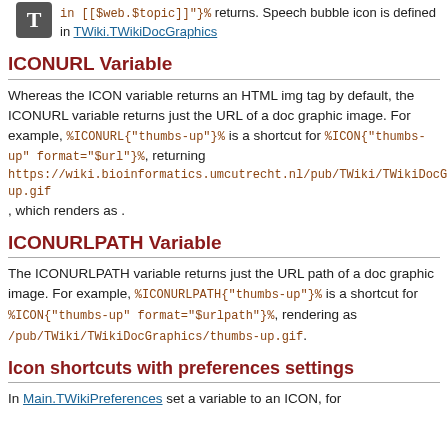in [[$web.$topic]]}% returns. Speech bubble icon is defined in TWiki.TWikiDocGraphics
ICONURL Variable
Whereas the ICON variable returns an HTML img tag by default, the ICONURL variable returns just the URL of a doc graphic image. For example, %ICONURL{"thumbs-up"}% is a shortcut for %ICON{"thumbs-up" format="$url"}%, returning https://wiki.bioinformatics.umcutrecht.nl/pub/TWiki/TWikiDocGra...up.gif, which renders as .
ICONURLPATH Variable
The ICONURLPATH variable returns just the URL path of a doc graphic image. For example, %ICONURLPATH{"thumbs-up"}% is a shortcut for %ICON{"thumbs-up" format="$urlpath"}%, rendering as /pub/TWiki/TWikiDocGraphics/thumbs-up.gif.
Icon shortcuts with preferences settings
In Main.TWikiPreferences set a variable to an ICON, for